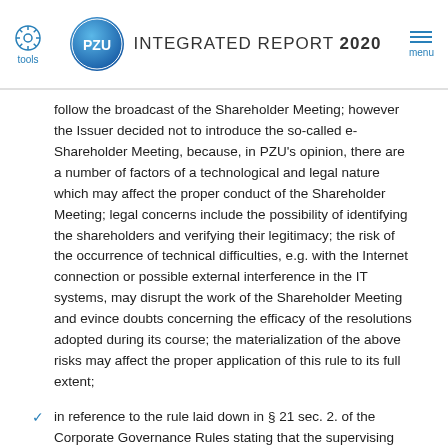tools | PZU INTEGRATED REPORT 2020 | menu
follow the broadcast of the Shareholder Meeting; however the Issuer decided not to introduce the so-called e-Shareholder Meeting, because, in PZU’s opinion, there are a number of factors of a technological and legal nature which may affect the proper conduct of the Shareholder Meeting; legal concerns include the possibility of identifying the shareholders and verifying their legitimacy; the risk of the occurrence of technical difficulties, e.g. with the Internet connection or possible external interference in the IT systems, may disrupt the work of the Shareholder Meeting and evince doubts concerning the efficacy of the resolutions adopted during its course; the materialization of the above risks may affect the proper application of this rule to its full extent;
in reference to the rule laid down in § 21 sec. 2. of the Corporate Governance Rules stating that the supervising body should have a separate chairperson function in charge of organizing the work of the supervisory body and the